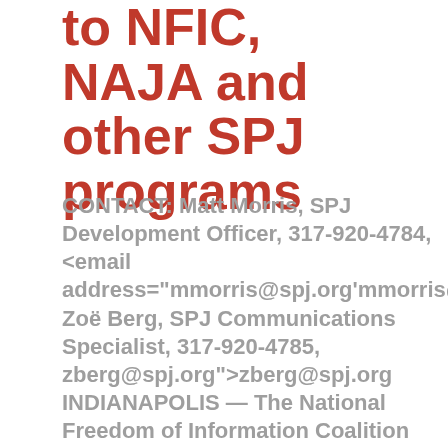to NFIC, NAJA and other SPJ programs
CONTACT: Matt Morris, SPJ Development Officer, 317-920-4784, <email address="mmorris@spj.org'mmorris@spj.org Zoë Berg, SPJ Communications Specialist, 317-920-4785, zberg@spj.org">zberg@spj.org INDIANAPOLIS — The National Freedom of Information Coalition and the Native American Journalists Association are among five organizations receiving grants from the Society of Professional Journalists Foundation. Grantees are receiving nearly $76,000 in